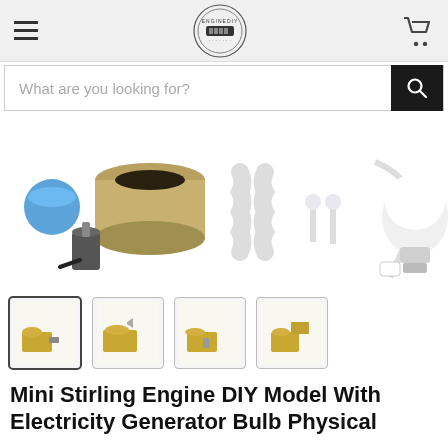[Figure (screenshot): E-commerce website header with hamburger menu, EngineDIY circular logo, and shopping cart icon on a light gray background]
What are you looking for?
[Figure (photo): Product flat lay showing Stirling engine kit components: blue cap, metal cylinder, plastic displacer, LED bulbs, alcohol lamp, USB cable, and LED light bulb on white background]
[Figure (photo): Four product thumbnail images showing the Mini Stirling Engine DIY kit from different angles]
Mini Stirling Engine DIY Model With Electricity Generator Bulb Physical